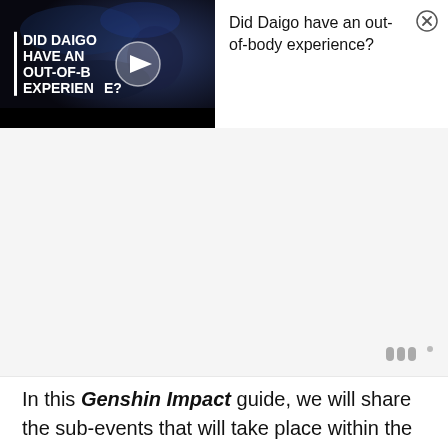[Figure (screenshot): Video thumbnail showing a person with crossed arms against a dark blue background with text 'DID DAIGO HAVE AN OUT-OF-BODY EXPERIENCE?' and a play button]
Did Daigo have an out-of-body experience?
[Figure (other): Advertisement area (grey/white blank area with a small Moat/analytics watermark logo in bottom-right)]
In this Genshin Impact guide, we will share the sub-events that will take place within the Hues of the Violet Garden main event.